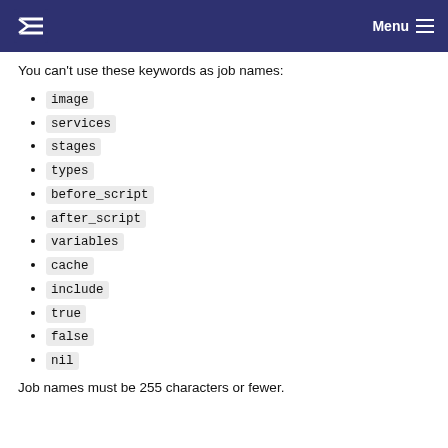Menu
You can't use these keywords as job names:
image
services
stages
types
before_script
after_script
variables
cache
include
true
false
nil
Job names must be 255 characters or fewer.